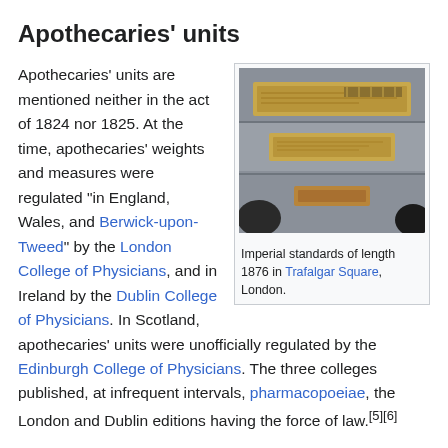Apothecaries' units
[Figure (photo): Imperial standards of length 1876 in Trafalgar Square, London. Photograph showing bronze plaques mounted on a stone wall.]
Imperial standards of length 1876 in Trafalgar Square, London.
Apothecaries' units are mentioned neither in the act of 1824 nor 1825. At the time, apothecaries' weights and measures were regulated "in England, Wales, and Berwick-upon-Tweed" by the London College of Physicians, and in Ireland by the Dublin College of Physicians. In Scotland, apothecaries' units were unofficially regulated by the Edinburgh College of Physicians. The three colleges published, at infrequent intervals, pharmacopoeiae, the London and Dublin editions having the force of law.[5][6]
Imperial apothecaries' measures, based on the imperial pint of 20 fluid ounces, were introduced by the publication of the London Pharmacopoeia of 1836,[7][8] the Edinburgh Pharmacopoeia of